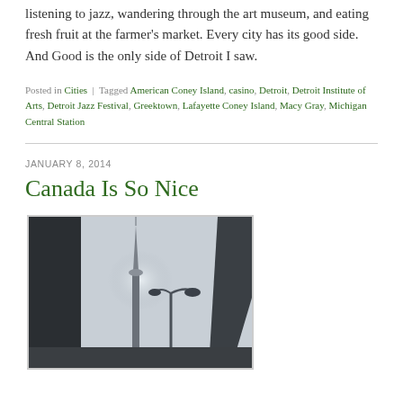listening to jazz, wandering through the art museum, and eating fresh fruit at the farmer's market. Every city has its good side. And Good is the only side of Detroit I saw.
Posted in Cities | Tagged American Coney Island, casino, Detroit, Detroit Institute of Arts, Detroit Jazz Festival, Greektown, Lafayette Coney Island, Macy Gray, Michigan Central Station
JANUARY 8, 2014
Canada Is So Nice
[Figure (photo): Looking up at a city street scene with a tall communications tower (CN Tower) against a hazy sky, alongside a lamp post and dark building facades on either side.]